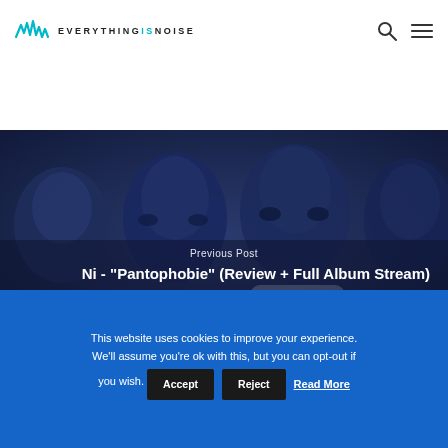EVERYTHINGSNOISE
[Figure (photo): Blue-toned photo of four people's faces staring forward, used as hero image background]
Previous Post
Ni - "Pantophobie" (Review + Full Album Stream)
This website uses cookies to improve your experience. We'll assume you're ok with this, but you can opt-out if you wish. Accept Reject Read More